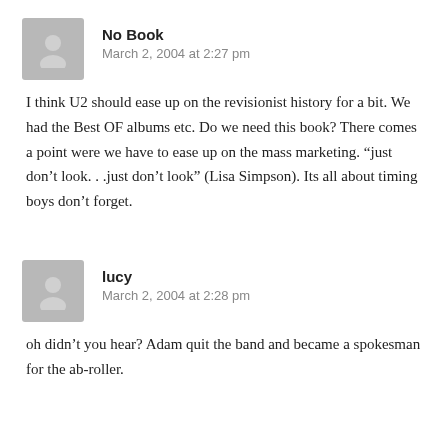No Book
March 2, 2004 at 2:27 pm
I think U2 should ease up on the revisionist history for a bit. We had the Best OF albums etc. Do we need this book? There comes a point were we have to ease up on the mass marketing. “just don’t look. . .just don’t look” (Lisa Simpson). Its all about timing boys don’t forget.
lucy
March 2, 2004 at 2:28 pm
oh didn’t you hear? Adam quit the band and became a spokesman for the ab-roller.